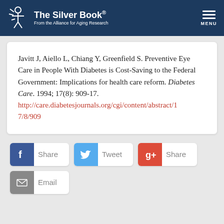The Silver Book® From the Alliance for Aging Research MENU
Javitt J, Aiello L, Chiang Y, Greenfield S. Preventive Eye Care in People With Diabetes is Cost-Saving to the Federal Government: Implications for health care reform. Diabetes Care. 1994; 17(8): 909-17. http://care.diabetesjournals.org/cgi/content/abstract/17/8/909
Share Tweet Share Email